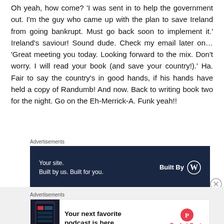Oh yeah, how come? 'I was sent in to help the government out. I'm the guy who came up with the plan to save Ireland from going bankrupt. Must go back soon to implement it.' Ireland's saviour! Sound dude. Check my email later on… 'Great meeting you today. Looking forward to the mix. Don't worry. I will read your book (and save your country!).' Ha. Fair to say the country's in good hands, if his hands have held a copy of Randumb! And now. Back to writing book two for the night. Go on the Eh-Merrick-A. Funk yeah!!
[Figure (screenshot): Advertisement banner: dark navy background with text 'Your site. Built by us. Built for you.' and 'Built By' with WordPress logo on the right.]
[Figure (screenshot): Advertisement banner: white background with phone image on left, text 'Your next favorite podcast is here.' in bold, Pocket Casts logo and name on the right.]